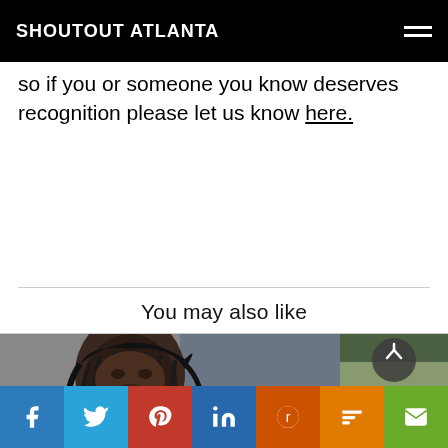SHOUTOUT ATLANTA
so if you or someone you know deserves recognition please let us know here.
You may also like
[Figure (photo): Portrait photo of a woman with long braids wearing a striped top, against a gray background]
[Figure (photo): Partial view of an outdoor scene with greenery, with a scroll-up button overlay]